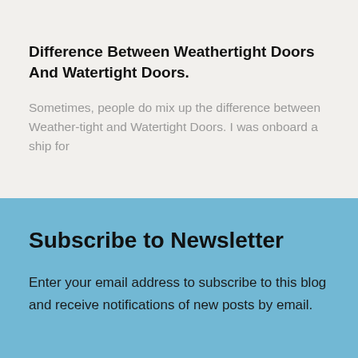Difference Between Weathertight Doors And Watertight Doors.
Sometimes, people do mix up the difference between Weather-tight and Watertight Doors. I was onboard a ship for
Subscribe to Newsletter
Enter your email address to subscribe to this blog and receive notifications of new posts by email.